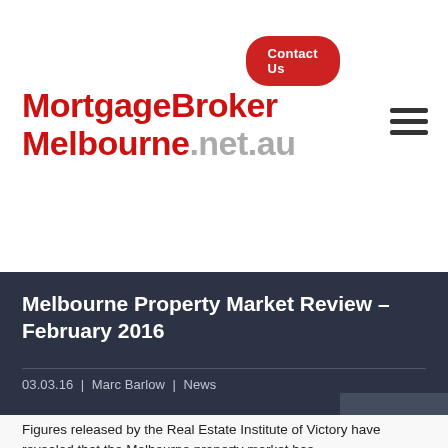MortgageBrokerMelbourne.net.au
Contact Us
Melbourne Property Market Review – February 2016
03.03.16 | Marc Barlow | News
Figures released by the Real Estate Institute of Victory have revealed that the Melbourne property market has